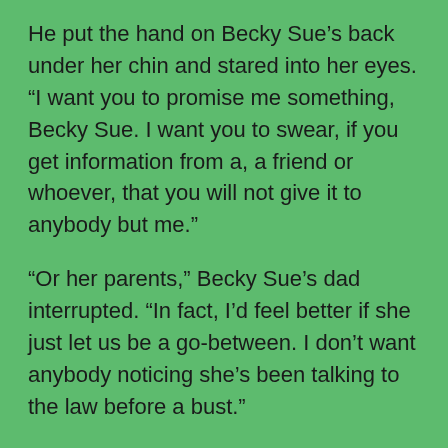He put the hand on Becky Sue’s back under her chin and stared into her eyes. “I want you to promise me something, Becky Sue. I want you to swear, if you get information from a, a friend or whoever, that you will not give it to anybody but me.”
“Or her parents,” Becky Sue’s dad interrupted. “In fact, I’d feel better if she just let us be a go-between. I don’t want anybody noticing she’s been talking to the law before a bust.”
“What if there isn’t time?” Becky Sue whispered. “What if I’m at school and you’re both working?”
I wondered who – or what – she might be talking to at school, since there weren’t any animals allowed on the school grounds, but then I remembered all the birds that